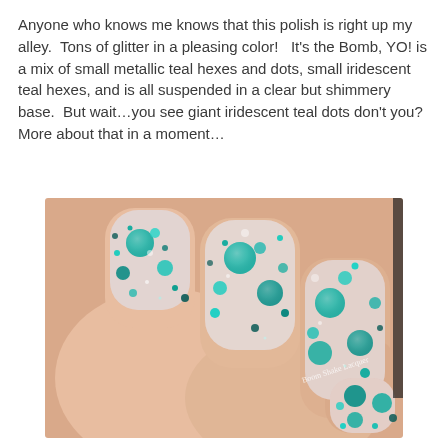Anyone who knows me knows that this polish is right up my alley.  Tons of glitter in a pleasing color!   It's the Bomb, YO! is a mix of small metallic teal hexes and dots, small iridescent teal hexes, and is all suspended in a clear but shimmery base.  But wait…you see giant iridescent teal dots don't you?  More about that in a moment…
[Figure (photo): Close-up photo of a hand with fingernails painted with a glitter nail polish featuring large and small teal/iridescent dots and hexes on a clear shimmery base over a pink/nude base color. Watermark reads 'Boom Shake Lacquer'.]